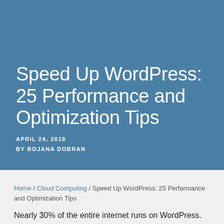Speed Up WordPress: 25 Performance and Optimization Tips
APRIL 24, 2018
BY BOJANA DOBRAN
Home / Cloud Computing / Speed Up WordPress: 25 Performance and Optimization Tips
Nearly 30% of the entire internet runs on WordPress.